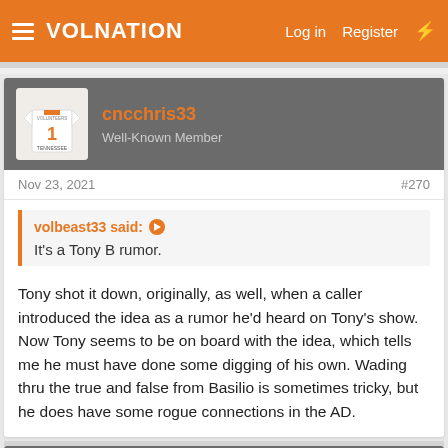VolNation — Log in  Register
cncchris33
Well-Known Member
Nov 23, 2021  #270
volbeast33 said: ↑
It's a Tony B rumor.
Tony shot it down, originally, as well, when a caller introduced the idea as a rumor he'd heard on Tony's show. Now Tony seems to be on board with the idea, which tells me he must have done some digging of his own. Wading thru the true and false from Basilio is sometimes tricky, but he does have some rogue connections in the AD.
RiseToTheTop